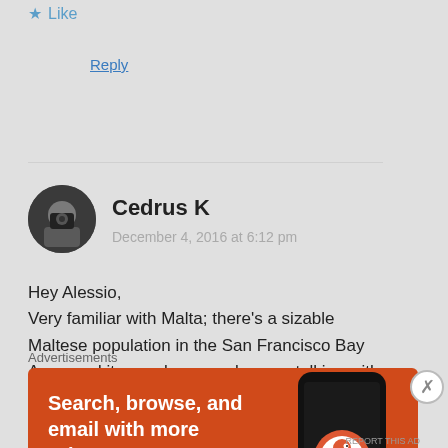★ Like
Reply
Cedrus K
December 4, 2016 at 6:12 pm
Hey Alessio,
Very familiar with Malta; there's a sizable Maltese population in the San Francisco Bay Area, and it was always a pleasure talking with them about the common history and similar language expressions that exists between Lebanese and
Advertisements
[Figure (screenshot): DuckDuckGo advertisement banner with orange background. Text reads 'Search, browse, and email with more privacy. All in One Free App' with a DuckDuckGo logo and phone image.]